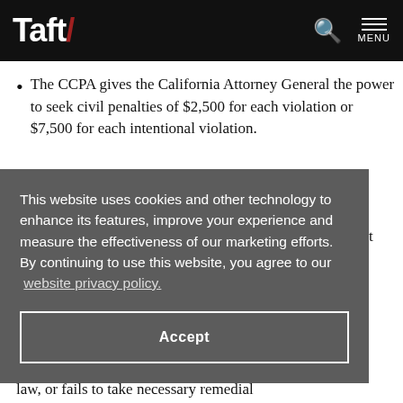Taft/
The CCPA gives the California Attorney General the power to seek civil penalties of $2,500 for each violation or $7,500 for each intentional violation.
This website uses cookies and other technology to enhance its features, improve your experience and measure the effectiveness of our marketing efforts. By continuing to use this website, you agree to our website privacy policy.
Accept
law, or fails to take necessary remedial